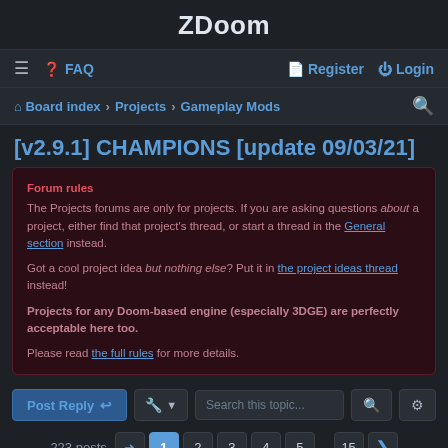ZDoom
≡  FAQ  Register  Login
Board index › Projects › Gameplay Mods
[v2.9.1] CHAMPIONS [update 09/03/21]
Forum rules
The Projects forums are only for projects. If you are asking questions about a project, either find that project's thread, or start a thread in the General section instead.

Got a cool project idea but nothing else? Put it in the project ideas thread instead!

Projects for any Doom-based engine (especially 3DGE) are perfectly acceptable here too.

Please read the full rules for more details.
Post Reply  [tools]  Search this topic...
223 posts  1 2 3 4 5 ... 15 >
Mikk-